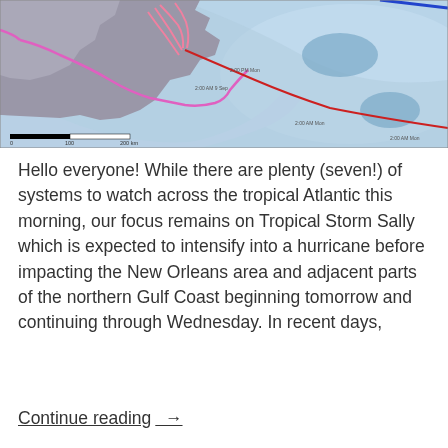[Figure (map): Meteorological map showing tropical storm track paths over the Gulf Coast and southeastern United States, with contour lines, pink and red track lines, and distance scale bar. Coastal areas and inland regions shown with gray and blue shading.]
Hello everyone! While there are plenty (seven!) of systems to watch across the tropical Atlantic this morning, our focus remains on Tropical Storm Sally which is expected to intensify into a hurricane before impacting the New Orleans area and adjacent parts of the northern Gulf Coast beginning tomorrow and continuing through Wednesday. In recent days,
Continue reading  →